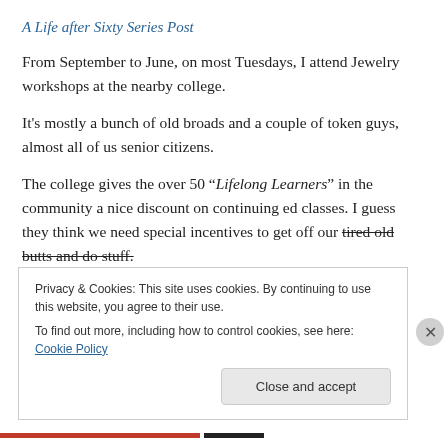A Life after Sixty Series Post
From September to June, on most Tuesdays, I attend Jewelry workshops at the nearby college.
It's mostly a bunch of old broads and a couple of token guys, almost all of us senior citizens.
The college gives the over 50 “Lifelong Learners” in the community a nice discount on continuing ed classes. I guess they think we need special incentives to get off our tired old butts and do stuff.
Privacy & Cookies: This site uses cookies. By continuing to use this website, you agree to their use.
To find out more, including how to control cookies, see here: Cookie Policy
Close and accept